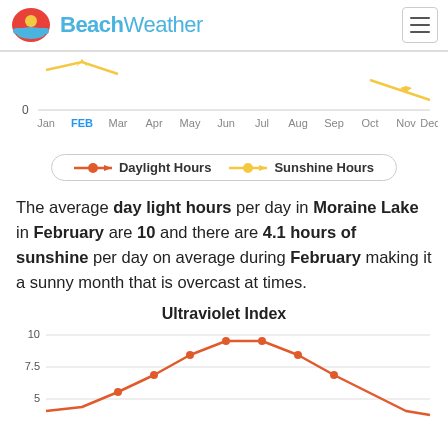BeachWeather
[Figure (line-chart): Partial view of a line chart showing Daylight Hours and Sunshine Hours by month. X-axis shows Jan through Dec with FEB highlighted. Y-axis shows 0. Two lines visible: red/orange for Daylight Hours, gold/yellow for Sunshine Hours.]
[Figure (other): Legend showing Daylight Hours (red line with dot) and Sunshine Hours (gold line with dot)]
The average day light hours per day in Moraine Lake in February are 10 and there are 4.1 hours of sunshine per day on average during February making it a sunny month that is overcast at times.
Ultraviolet Index
[Figure (line-chart): Line chart showing UV index by month. Y-axis shows 5, 7.5, 10. Curve rises to peak around 9 in summer months, visible from partial view. Orange line with orange dots.]